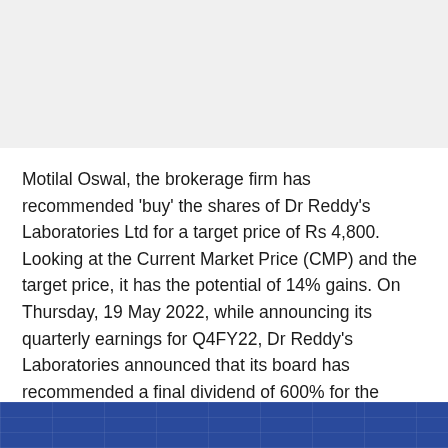Motilal Oswal, the brokerage firm has recommended 'buy' the shares of Dr Reddy's Laboratories Ltd for a target price of Rs 4,800. Looking at the Current Market Price (CMP) and the target price, it has the potential of 14% gains. On Thursday, 19 May 2022, while announcing its quarterly earnings for Q4FY22, Dr Reddy's Laboratories announced that its board has recommended a final dividend of 600% for the financial year 2021-22.